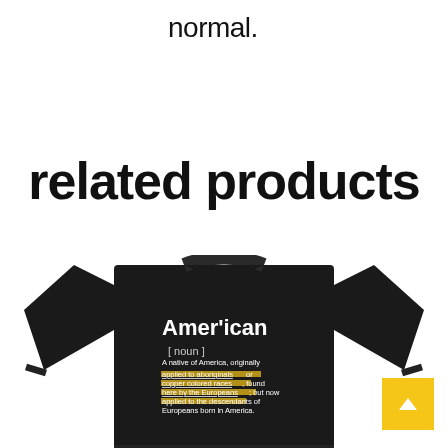normal.
related products
[Figure (photo): A black long-sleeve sweatshirt with white text 'Amer'ican [ noun ]' and a dictionary-style definition printed on the chest. Some text is highlighted in yellow.]
[Figure (other): Yellow scroll-to-top button with an upward triangle arrow in the bottom right corner.]